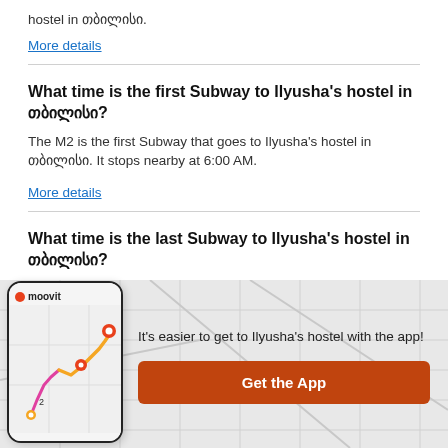hostel in თბილისი.
More details
What time is the first Subway to Ilyusha's hostel in თბილისი?
The M2 is the first Subway that goes to Ilyusha's hostel in თბილისი. It stops nearby at 6:00 AM.
More details
What time is the last Subway to Ilyusha's hostel in თბილისი?
The M2 is the last Subway that goes to Ilyusha's hostel in
[Figure (illustration): Moovit app screenshot showing a route map with orange and pink lines, with red location pin markers]
It's easier to get to Ilyusha's hostel with the app!
Get the App